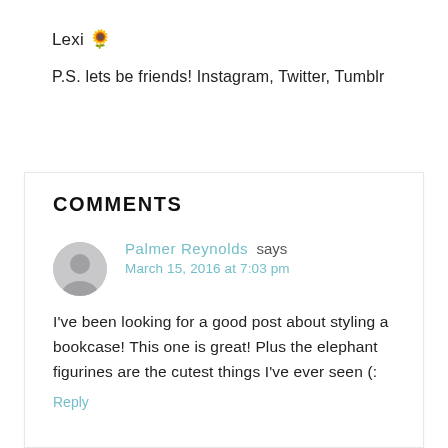Lexi 🌻
P.S. lets be friends! Instagram, Twitter, Tumblr
COMMENTS
Palmer Reynolds says
March 15, 2016 at 7:03 pm
I've been looking for a good post about styling a bookcase! This one is great! Plus the elephant figurines are the cutest things I've ever seen (:
Reply